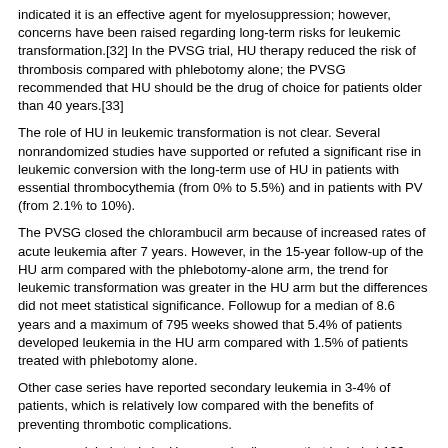indicated it is an effective agent for myelosuppression; however, concerns have been raised regarding long-term risks for leukemic transformation.[32] In the PVSG trial, HU therapy reduced the risk of thrombosis compared with phlebotomy alone; the PVSG recommended that HU should be the drug of choice for patients older than 40 years.[33]
The role of HU in leukemic transformation is not clear. Several nonrandomized studies have supported or refuted a significant rise in leukemic conversion with the long-term use of HU in patients with essential thrombocythemia (from 0% to 5.5%) and in patients with PV (from 2.1% to 10%).
The PVSG closed the chlorambucil arm because of increased rates of acute leukemia after 7 years. However, in the 15-year follow-up of the HU arm compared with the phlebotomy-alone arm, the trend for leukemic transformation was greater in the HU arm but the differences did not meet statistical significance. Followup for a median of 8.6 years and a maximum of 795 weeks showed that 5.4% of patients developed leukemia in the HU arm compared with 1.5% of patients treated with phlebotomy alone.
Other case series have reported secondary leukemia in 3-4% of patients, which is relatively low compared with the benefits of preventing thrombotic complications.
In an open-label study by Huang and colleagues that included 136 patients with JAK2V617F mutation–positive PV, treatment with interferon alfa 2b (IFN α-2b) did not produce a superior overall hematologic response, compared with HU. However, IFN α-2b provided better 5-year progression-free survival (66.3% versus 46.7%, P< 0.01) and clinical improvement (in vasomotor symptoms, distal paresthesias, and erythromelalgia). No severe hematological adverse events were observed in patients receiving IFN α-2b